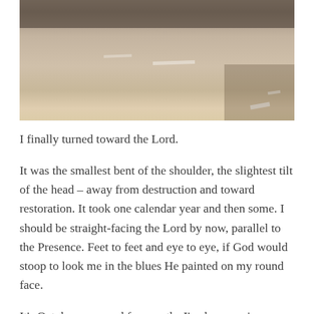[Figure (photo): Photograph of a street/road surface shot from above or at an angle, showing asphalt pavement with road markings (white lines/arrows) visible, taken in daylight with warm tones. The upper portion shows darker elements and a red/brick sidewalk area.]
I finally turned toward the Lord.
It was the smallest bent of the shoulder, the slightest tilt of the head – away from destruction and toward restoration. It took one calendar year and then some. I should be straight-facing the Lord by now, parallel to the Presence. Feet to feet and eye to eye, if God would stoop to look me in the blues He painted on my round face.
It’s October now, and for months I’ve been saying